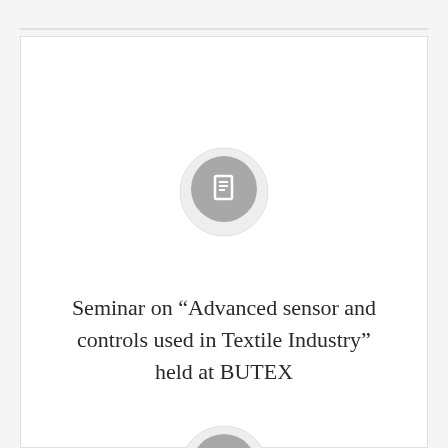[Figure (illustration): A grey circular icon with a small white rectangle/document symbol in the center, top position]
Seminar on “Advanced sensor and controls used in Textile Industry” held at BUTEX
[Figure (illustration): A grey circular icon with a small white rectangle/document symbol in the center, bottom position (partially visible)]